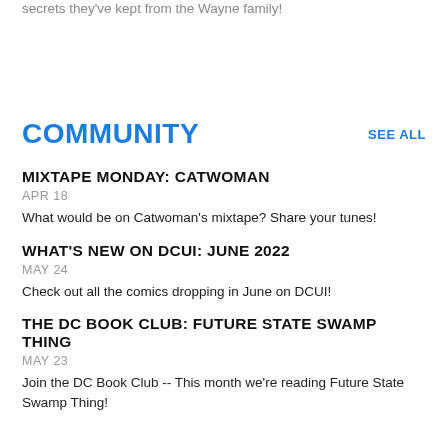secrets they've kept from the Wayne family!
COMMUNITY
SEE ALL
MIXTAPE MONDAY: CATWOMAN
APR 18
What would be on Catwoman's mixtape? Share your tunes!
WHAT'S NEW ON DCUI: JUNE 2022
MAY 24
Check out all the comics dropping in June on DCUI!
THE DC BOOK CLUB: FUTURE STATE SWAMP THING
MAY 23
Join the DC Book Club -- This month we're reading Future State Swamp Thing!